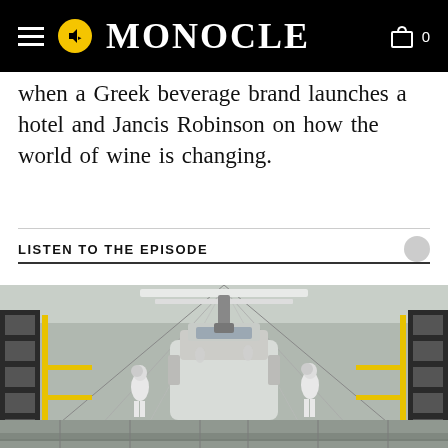MONOCLE
when a Greek beverage brand launches a hotel and Jancis Robinson on how the world of wine is changing.
LISTEN TO THE EPISODE
[Figure (photo): Interior of a large industrial facility or yacht manufacturing plant. Workers in white protective suits work around a large white vessel/vehicle body on a production line. The building has a high ceiling with skylights and fluorescent strip lighting. Yellow safety rails and black panels line the sides.]